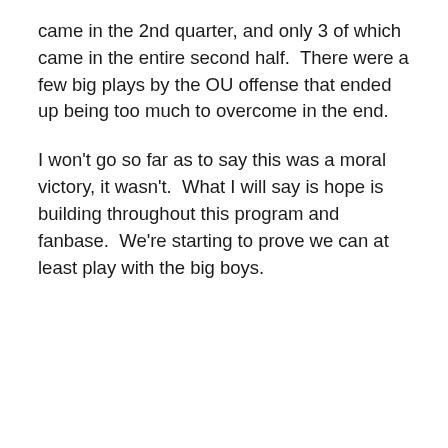came in the 2nd quarter, and only 3 of which came in the entire second half.  There were a few big plays by the OU offense that ended up being too much to overcome in the end.
I won't go so far as to say this was a moral victory, it wasn't.  What I will say is hope is building throughout this program and fanbase.  We're starting to prove we can at least play with the big boys.